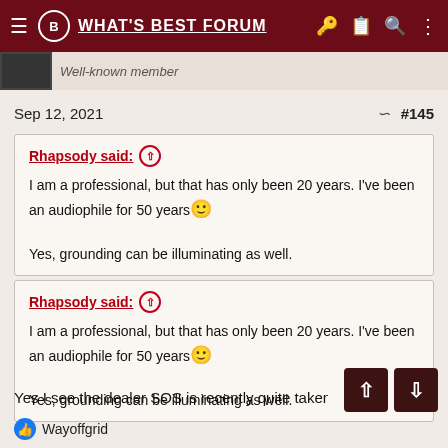WHAT'S BEST FORUM
Sep 12, 2021  #145
Rhapsody said: ↑
I am a professional, but that has only been 20 years. I've been an audiophile for 50 years 🙂

Yes, grounding can be illuminating as well.
Rhapsody said: ↑
I am a professional, but that has only been 20 years. I've been an audiophile for 50 years 🙂

Yes, grounding can be illuminating as well.
Yes I see the dealer SOS is recently quite taken with them t
Wayoffgrid